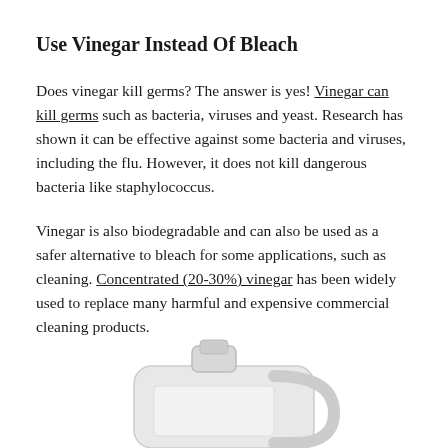Use Vinegar Instead Of Bleach
Does vinegar kill germs? The answer is yes! Vinegar can kill germs such as bacteria, viruses and yeast. Research has shown it can be effective against some bacteria and viruses, including the flu. However, it does not kill dangerous bacteria like staphylococcus.
Vinegar is also biodegradable and can also be used as a safer alternative to bleach for some applications, such as cleaning. Concentrated (20-30%) vinegar has been widely used to replace many harmful and expensive commercial cleaning products.
[Figure (photo): Bottom portion of a white plastic jug/container with a handle, partially visible at the bottom of the page]